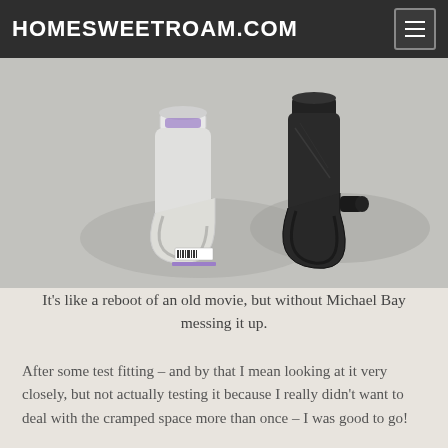HOMESWEETROAM.COM
[Figure (photo): Two P-trap plumbing pipe fittings side by side on a light grey surface — one white PVC with purple markings and a barcode sticker, one old black ABS — both U-shaped drain traps.]
It's like a reboot of an old movie, but without Michael Bay messing it up.
After some test fitting – and by that I mean looking at it very closely, but not actually testing it because I really didn't want to deal with the cramped space more than once – I was good to go!